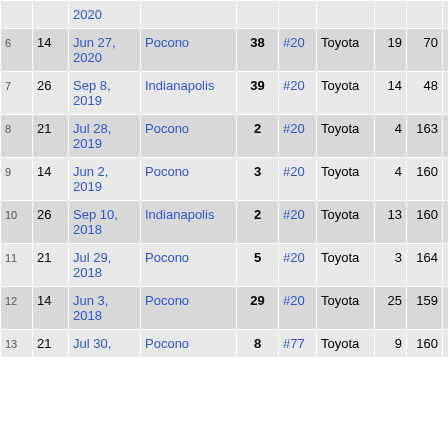| # | Laps | Date | Track | Finish | Car | Make | Start | Laps | Pts |
| --- | --- | --- | --- | --- | --- | --- | --- | --- | --- |
| 6 | 14 | Jun 27, 2020 | Pocono | 38 | #20 | Toyota | 19 | 70 | 0 |
| 7 | 26 | Sep 8, 2019 | Indianapolis | 39 | #20 | Toyota | 14 | 48 | 0 |
| 8 | 21 | Jul 28, 2019 | Pocono | 2 | #20 | Toyota | 4 | 163 | 10 |
| 9 | 14 | Jun 2, 2019 | Pocono | 3 | #20 | Toyota | 4 | 160 | 0 |
| 10 | 26 | Sep 10, 2018 | Indianapolis | 2 | #20 | Toyota | 13 | 160 | 0 |
| 11 | 21 | Jul 29, 2018 | Pocono | 5 | #20 | Toyota | 3 | 164 | 11 |
| 12 | 14 | Jun 3, 2018 | Pocono | 29 | #20 | Toyota | 25 | 159 | 0 |
| 13 | 21 | Jul 30, | Pocono | 8 | #77 | Toyota | 9 | 160 | 4 |